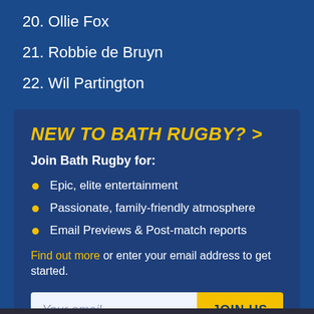20. Ollie Fox
21. Robbie de Bruyn
22. Wil Partington
NEW TO BATH RUGBY? >
Join Bath Rugby for:
Epic, elite entertainment
Passionate, family-friendly atmosphere
Email Previews & Post-match reports
Find out more or enter your email address to get started.
Your email | JOIN US